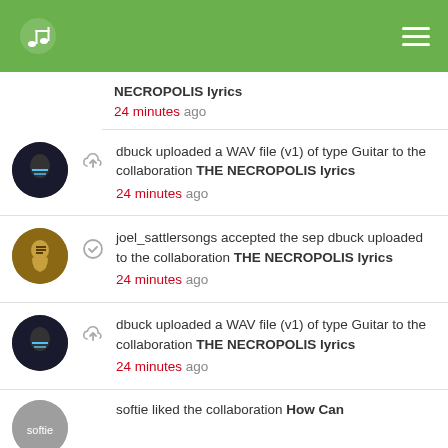[Figure (screenshot): Green app header bar with music note logo on left and hamburger menu on right]
NECROPOLIS lyrics
24 minutes ago
dbuck uploaded a WAV file (v1) of type Guitar to the collaboration THE NECROPOLIS lyrics
24 minutes ago
joel_sattlersongs accepted the sep dbuck uploaded to the collaboration THE NECROPOLIS lyrics
24 minutes ago
dbuck uploaded a WAV file (v1) of type Guitar to the collaboration THE NECROPOLIS lyrics
24 minutes ago
softie liked the collaboration How Can